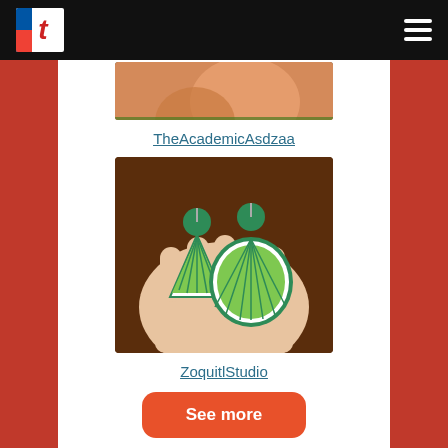t [logo with hamburger menu]
[Figure (photo): Partial view of a hand holding something, cropped at top, with green and orange tones visible]
TheAcademicAsdzaa
[Figure (photo): A hand holding two lime slice-shaped clay earrings with green disc tops, displayed against a brown background]
ZoquitlStudio
See more